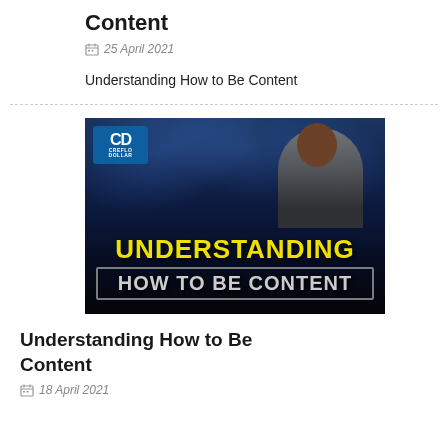Content
25 April 2021
Understanding How to Be Content
[Figure (screenshot): Video thumbnail showing a man speaking on stage with text overlay reading 'UNDERSTANDING HOW TO BE CONTENT' in yellow and grey block letters, with a Creflo Dollar Ministries logo badge in the upper left corner.]
Understanding How to Be Content
18 April 2021